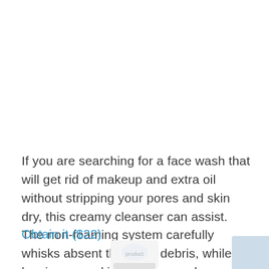If you are searching for a face wash that will get rid of makeup and extra oil without stripping your pores and skin dry, this creamy cleanser can assist. The non-foaming system carefully whisks absent the day's debris, while leaving your skin experience oh so soft (and not in the the very least restricted.)
Obtain it ($22)
[Figure (photo): Bottom portion of a product tube/container visible at the bottom center of the page, with a light blue box in the bottom right corner.]